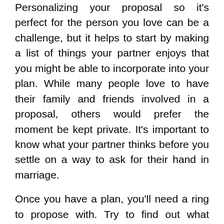Personalizing your proposal so it's perfect for the person you love can be a challenge, but it helps to start by making a list of things your partner enjoys that you might be able to incorporate into your plan. While many people love to have their family and friends involved in a proposal, others would prefer the moment be kept private. It's important to know what your partner thinks before you settle on a way to ask for their hand in marriage.
Once you have a plan, you'll need a ring to propose with. Try to find out what styles your partner prefers, and remember that you should stick to rings that are appropriate for everyday wear. pavé wedding bands, which are lined with small diamonds, can be a great choice for anyone who loves a little extra sparkle. Some people have strong preferences between yellow gold and white gold or like jewels other than diamonds. You may not realize it, but you have a lot of